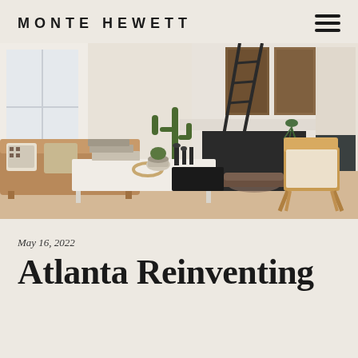MONTE HEWETT
[Figure (photo): Interior living room photo featuring a white fireplace with black surround, wooden ladder leaning against the wall, cactus plants, leather sofa with pillows, wooden coffee table with decorative items, and a wooden lounge chair with cushion. Abstract art hangs on the right wall.]
May 16, 2022
Atlanta Reinventing